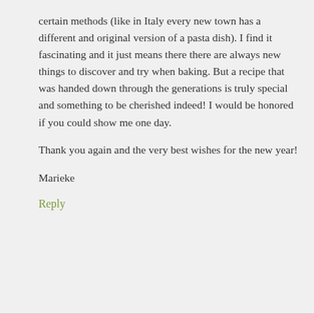certain methods (like in Italy every new town has a different and original version of a pasta dish). I find it fascinating and it just means there there are always new things to discover and try when baking. But a recipe that was handed down through the generations is truly special and something to be cherished indeed! I would be honored if you could show me one day.
Thank you again and the very best wishes for the new year!
Marieke
Reply